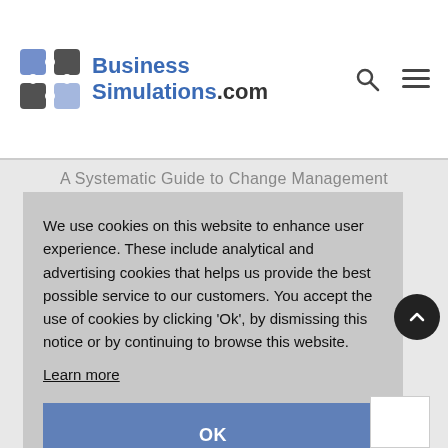BusinessSimulations.com
A Systematic Guide to Change Management
We use cookies on this website to enhance user experience. These include analytical and advertising cookies that helps us provide the best possible service to our customers. You accept the use of cookies by clicking 'Ok', by dismissing this notice or by continuing to browse this website.
Learn more
OK